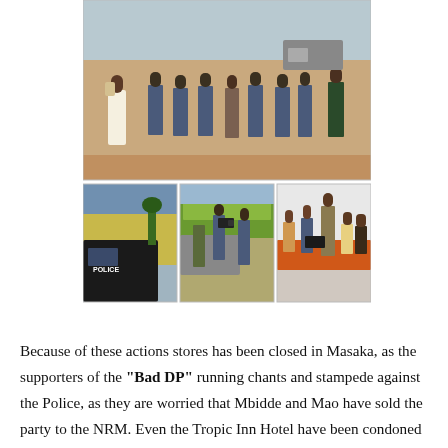[Figure (photo): Three photos: top photo shows people including police officers in uniform on a dusty street, a man in white trousers walking. Bottom row: left photo shows a police vehicle with 'POLICE' text near a yellow building; middle photo shows police officers with camera crew near a vehicle; right photo shows a police officer sitting with several people at an orange table in an office.]
Because of these actions stores has been closed in Masaka, as the supporters of the "Bad DP" running chants and stampede against the Police, as they are worried that Mbidde and Mao have sold the party to the NRM. Even the Tropic Inn Hotel have been condoned by the Police